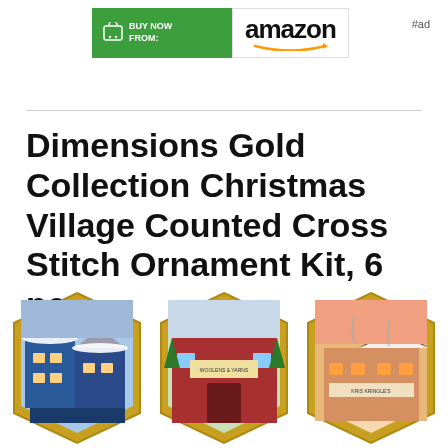[Figure (screenshot): Amazon 'Buy Now From' green button with cart icon alongside Amazon logo with smile arrow, labeled #ad]
#ad
Dimensions Gold Collection Christmas Village Counted Cross Stitch Ornament Kit, 6 pcs
[Figure (photo): Three cross-stitch Christmas village ornaments in hexagonal gold frames showing snowy house scenes]